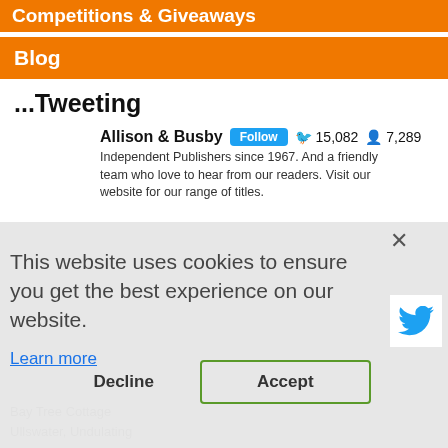Competitions & Giveaways
Blog
...Tweeting
Allison & Busby   Follow   15,082   7,289
Independent Publishers since 1967. And a friendly team who love to hear from our readers. Visit our website for our range of titles.
This website uses cookies to ensure you get the best experience on our website.
Learn more
Decline   Accept
Bay Tree Cottage
Ullswater, Undulating